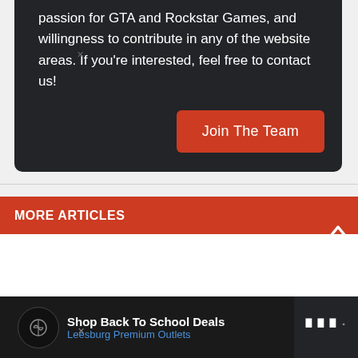passion for GTA and Rockstar Games, and willingness to contribute in any of the website areas. If you're interested, feel free to contact us!
Join The Team
MORE ARTICLES
[Figure (screenshot): Advertisement banner: Shop Back To School Deals - Leesburg Premium Outlets with navigation arrow icon]
Shop Back To School Deals
Leesburg Premium Outlets